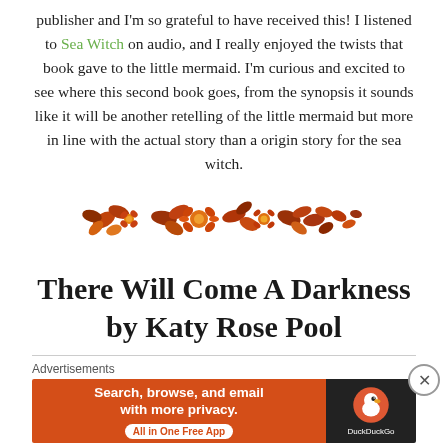publisher and I'm so grateful to have received this! I listened to Sea Witch on audio, and I really enjoyed the twists that book gave to the little mermaid. I'm curious and excited to see where this second book goes, from the synopsis it sounds like it will be another retelling of the little mermaid but more in line with the actual story than a origin story for the sea witch.
[Figure (illustration): Decorative floral/leaf divider in autumn orange and brown tones]
There Will Come A Darkness by Katy Rose Pool
Advertisements
[Figure (screenshot): DuckDuckGo advertisement banner: orange left side with text 'Search, browse, and email with more privacy. All in One Free App' and dark right side with DuckDuckGo duck logo and brand name]